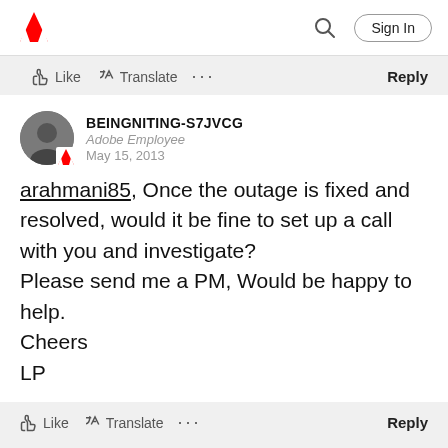Adobe community forum header with logo, search, and Sign In button
Like  Translate  ...  Reply
BEINGNITING-S7JVCG
Adobe Employee
May 15, 2013
arahmani85, Once the outage is fixed and resolved, would it be fine to set up a call with you and investigate? Please send me a PM, Would be happy to help.
Cheers
LP
Like  Translate  ...  Reply